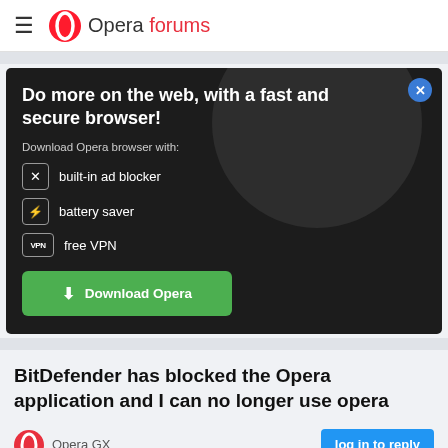Opera forums
[Figure (screenshot): Opera browser advertisement banner on dark background. Shows text: 'Do more on the web, with a fast and secure browser!' and 'Download Opera browser with: built-in ad blocker, battery saver, free VPN' with a green Download Opera button.]
BitDefender has blocked the Opera application and I can no longer use opera
Opera GX
log in to reply